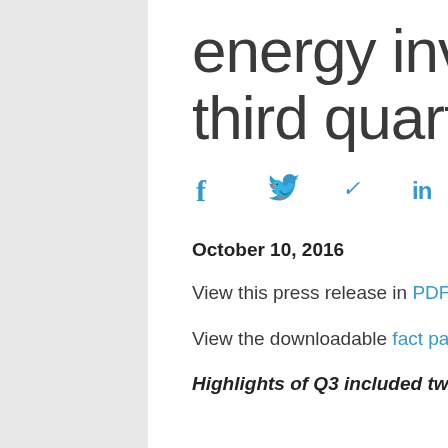energy investment in third quarter
[Figure (infographic): Social sharing icons: Facebook (f), Twitter (bird), LinkedIn (in), Email (envelope)]
October 10, 2016
View this press release in PDF.
View the downloadable fact pack here.
Highlights of Q3 included two